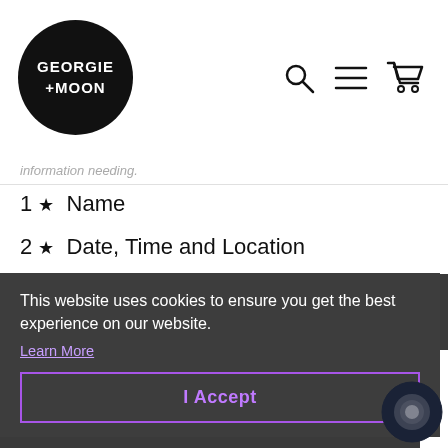[Figure (logo): Georgie + Moon circular black logo with white text]
information needing.
1 ★ Name
2 ★ Date, Time and Location
3 ★ Style
4 ★ Add any other information you would like to include
This website uses cookies to ensure you get the best experience on our website.
Learn More
I Accept
IDEAS FOR OCCASIONS THAT YOU CAN COMMEMORATE: